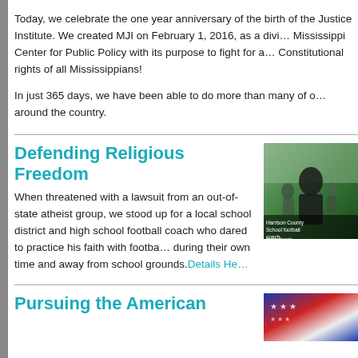Today, we celebrate the one year anniversary of the birth of the Justice Institute. We created MJI on February 1, 2016, as a division of the Mississippi Center for Public Policy with its purpose to fight for and protect the Constitutional rights of all Mississippians!
In just 365 days, we have been able to do more than many of our counterparts around the country.
Defending Religious Freedom
[Figure (photo): Photo of a man in a black shirt outdoors, with text overlay reading 'Harrison County School football coach Ryan Bench']
When threatened with a lawsuit from an out-of-state atheist group, we stood up for a local school district and high school football coach who dared to practice his faith with football players during their own time and away from school grounds. Details Here
Pursuing the American
[Figure (photo): Photo with American flag colors and stars visible]